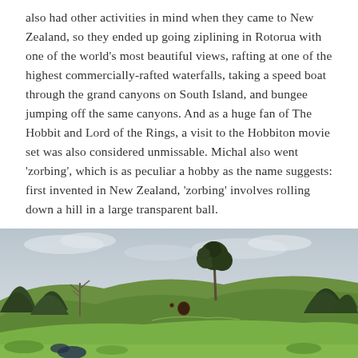also had other activities in mind when they came to New Zealand, so they ended up going ziplining in Rotorua with one of the world’s most beautiful views, rafting at one of the highest commercially-rafted waterfalls, taking a speed boat through the grand canyons on South Island, and bungee jumping off the same canyons. And as a huge fan of The Hobbit and Lord of the Rings, a visit to the Hobbiton movie set was also considered unmissable. Michal also went ‘zorbing’, which is as peculiar a hobby as the name suggests: first invented in New Zealand, ‘zorbing’ involves rolling down a hill in a large transparent ball.
[Figure (photo): Outdoor photo of the Hobbiton movie set in New Zealand, showing green rolling hills with a hobbit hole entrance visible, trees in the background including a large tree on a hill, and an overcast sky. The image appears to be taken on a cloudy day.]